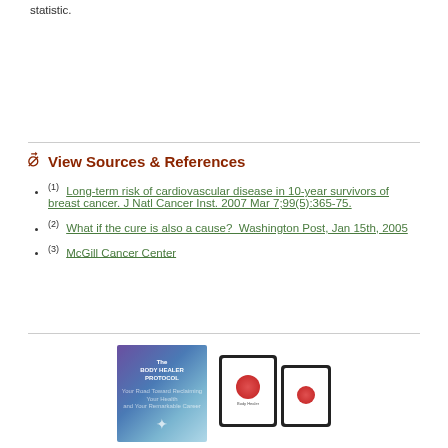statistic.
View Sources & References
(1) Long-term risk of cardiovascular disease in 10-year survivors of breast cancer. J Natl Cancer Inst. 2007 Mar 7;99(5):365-75.
(2) What if the cure is also a cause?  Washington Post, Jan 15th, 2005
(3) McGill Cancer Center
[Figure (photo): Book cover of 'The Body Healer Protocol' alongside tablet and e-reader devices displaying health-related content]